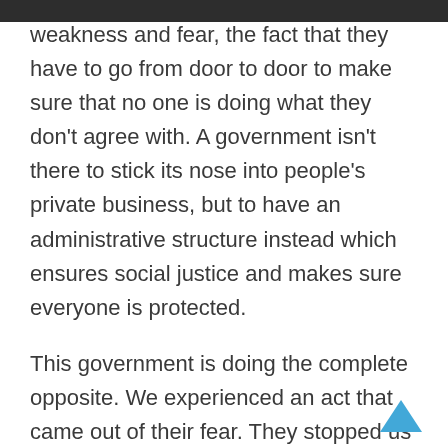weakness and fear, the fact that they have to go from door to door to make sure that no one is doing what they don't agree with. A government isn't there to stick its nose into people's private business, but to have an administrative structure instead which ensures social justice and makes sure everyone is protected.

This government is doing the complete opposite. We experienced an act that came out of their fear. They stopped us from entering a private home, which is illegal; they make laws and then constantly violate them. They don't want